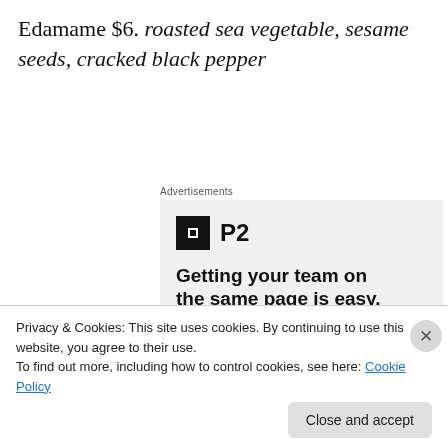Edamame $6. roasted sea vegetable, sesame seeds, cracked black pepper
Advertisements
[Figure (infographic): P2 advertisement with logo and headline 'Getting your team on the same page is easy. And free.' with avatar photos below.]
Privacy & Cookies: This site uses cookies. By continuing to use this website, you agree to their use.
To find out more, including how to control cookies, see here: Cookie Policy